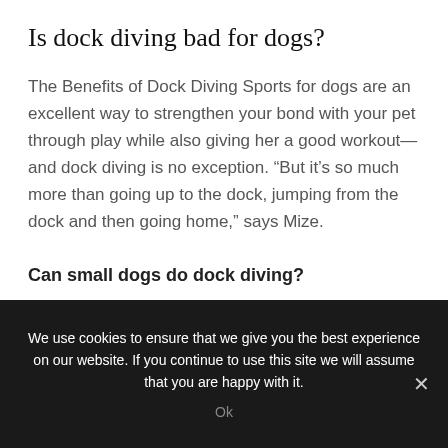Is dock diving bad for dogs?
The Benefits of Dock Diving Sports for dogs are an excellent way to strengthen your bond with your pet through play while also giving her a good workout—and dock diving is no exception. “But it’s so much more than going up to the dock, jumping from the dock and then going home,” says Mize.
Can small dogs do dock diving?
We use cookies to ensure that we give you the best experience on our website. If you continue to use this site we will assume that you are happy with it.
Ok